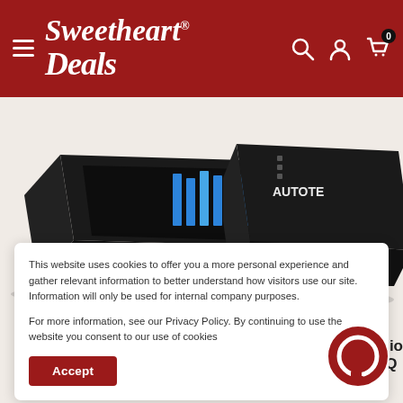Sweetheart Deals - navigation header with hamburger menu, logo, search, account, and cart icons
[Figure (photo): Clarion car audio equalizer/processor unit, black rectangular device with multiple knobs and blue display]
[Figure (photo): Autotec car audio device, partially visible on right side]
This website uses cookies to offer you a more personal experience and gather relevant information to better understand how visitors use our site. Information will only be used for internal company purposes.

For more information, see our Privacy Policy. By continuing to use the website you consent to our use of cookies
Accept
[Figure (other): Red circular chat/support icon, bottom right]